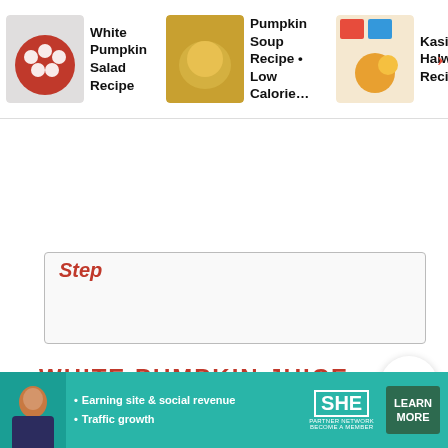[Figure (screenshot): Navigation bar with three recipe thumbnail links: White Pumpkin Salad Recipe, Pumpkin Soup Recipe Low Calorie, Kasi Halwa Recipe, with a right arrow]
[Figure (other): Black Subscribe button]
Step
WHITE PUMPKIN JUICE
I would call this as a magic juice, it is great for weight loss. Since white pumpkin is filled with water content, it makes you full and helps in weight loss. So when you are in diet, never miss to have a glass of this. I have a mint
[Figure (infographic): Advertisement banner for SHE Partner Network with woman avatar, bullets: Earning site & social revenue, Traffic growth, SHE logo, LEARN MORE button]